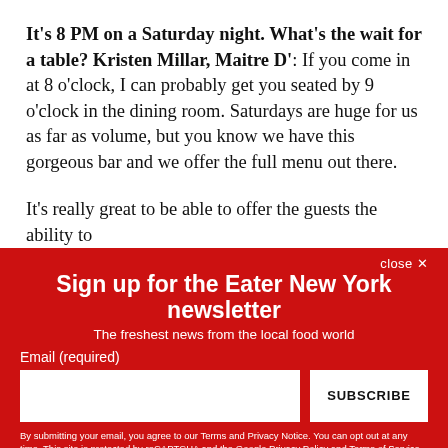It's 8 PM on a Saturday night. What's the wait for a table? Kristen Millar, Maitre D': If you come in at 8 o'clock, I can probably get you seated by 9 o'clock in the dining room. Saturdays are huge for us as far as volume, but you know we have this gorgeous bar and we offer the full menu out there.

It's really great to be able to offer the guests the ability to
Sign up for the Eater New York newsletter
The freshest news from the local food world
Email (required)
SUBSCRIBE
By submitting your email, you agree to our Terms and Privacy Notice. You can opt out at any time. This site is protected by reCAPTCHA and the Google Privacy Policy and Terms of Service apply.